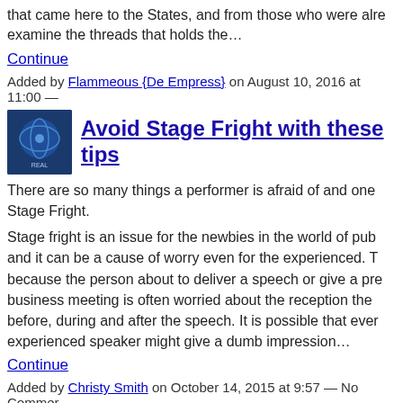that came here to the States, and from those who were already here. examine the threads that holds the…
Continue
Added by Flammeous {De Empress} on August 10, 2016 at 11:00 —
[Figure (photo): Small thumbnail image with globe/brain graphic for article]
Avoid Stage Fright with these tips
There are so many things a performer is afraid of and one Stage Fright.
Stage fright is an issue for the newbies in the world of pub and it can be a cause of worry even for the experienced. T because the person about to deliver a speech or give a pre business meeting is often worried about the reception the before, during and after the speech. It is possible that ever experienced speaker might give a dumb impression…
Continue
Added by Christy Smith on October 14, 2015 at 9:57 — No Commer